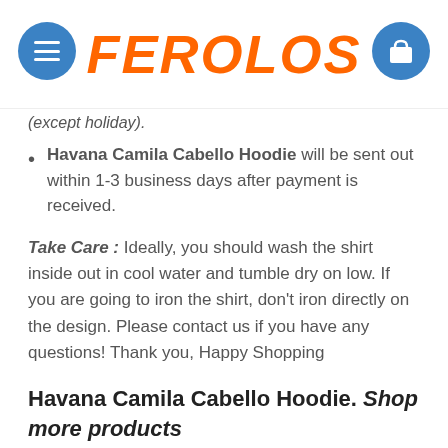FEROLOS
(except holiday).
Havana Camila Cabello Hoodie will be sent out within 1-3 business days after payment is received.
Take Care : Ideally, you should wash the shirt inside out in cool water and tumble dry on low. If you are going to iron the shirt, don't iron directly on the design. Please contact us if you have any questions! Thank you, Happy Shopping
Havana Camila Cabello Hoodie. Shop more products
ADDITIONAL INFORMATION